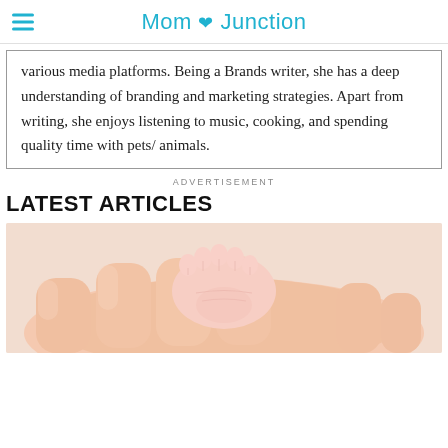Mom Junction
various media platforms. Being a Brands writer, she has a deep understanding of branding and marketing strategies. Apart from writing, she enjoys listening to music, cooking, and spending quality time with pets/ animals.
ADVERTISEMENT
LATEST ARTICLES
[Figure (photo): Close-up photo of an adult hand holding a small baby foot with tiny toes visible against a white background.]